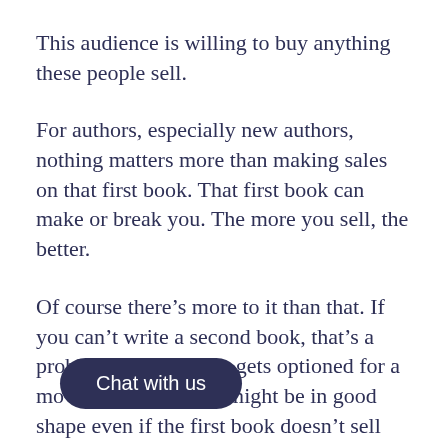This audience is willing to buy anything these people sell.
For authors, especially new authors, nothing matters more than making sales on that first book. That first book can make or break you. The more you sell, the better.
Of course there’s more to it than that. If you can’t write a second book, that’s a problem. If your book gets optioned for a movie or for TV, you might be in good shape even if the first book doesn’t sell well.
But [Chat with us button overlay] break out and sell well, if you have an audience that’s dedicated to you and to whom you